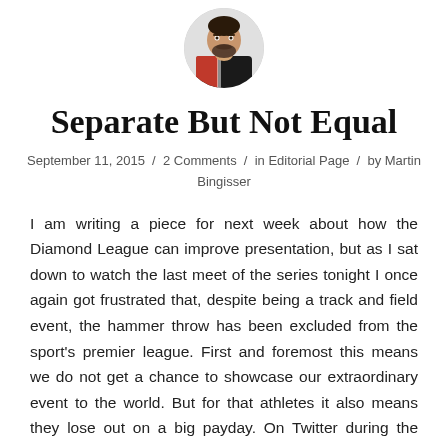[Figure (photo): Circular cropped headshot photo of a bearded man wearing a black and red sports jacket]
Separate But Not Equal
September 11, 2015 / 2 Comments / in Editorial Page / by Martin Bingisser
I am writing a piece for next week about how the Diamond League can improve presentation, but as I sat down to watch the last meet of the series tonight I once again got frustrated that, despite being a track and field event, the hammer throw has been excluded from the sport's premier league. First and foremost this means we do not get a chance to showcase our extraordinary event to the world. But for that athletes it also means they lose out on a big payday. On Twitter during the meet Finnish hammer thrower Fredrik